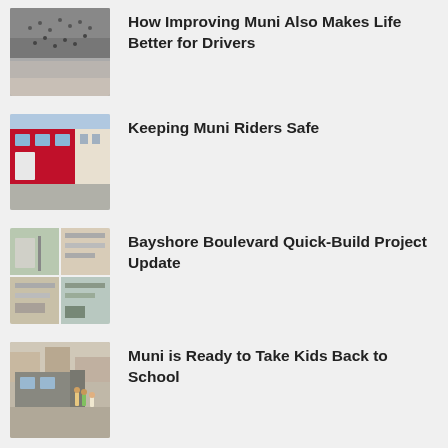[Figure (photo): Crowd of people (possibly transit riders) viewed from above or at street level]
How Improving Muni Also Makes Life Better for Drivers
[Figure (photo): Red Muni bus/train at a station platform]
Keeping Muni Riders Safe
[Figure (photo): Four-panel photo of Bayshore Boulevard showing road and intersection improvements]
Bayshore Boulevard Quick-Build Project Update
[Figure (photo): Muni bus at a stop with children and adults boarding]
Muni is Ready to Take Kids Back to School
[Figure (photo): Partial view of another news item image (cut off at bottom)]
Six Generation of Dist Street P...